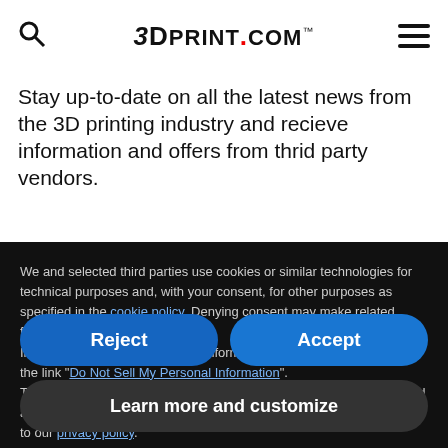3DPrint.com
Stay up-to-date on all the latest news from the 3D printing industry and recieve information and offers from thrid party vendors.
We and selected third parties use cookies or similar technologies for technical purposes and, with your consent, for other purposes as specified in the cookie policy. Denying consent may make related features unavailable.
In case of sale of your personal information, you may opt out by using the link "Do Not Sell My Personal Information".
To find out more about the categories of personal information collected and the purposes for which such information will be used, please refer to our privacy policy.
You can consent to the use of such technologies by using the "Accept" button, by scrolling this page, by interacting with any link or button outside of this notice or by continuing to browse otherwise.
Reject
Accept
Learn more and customize